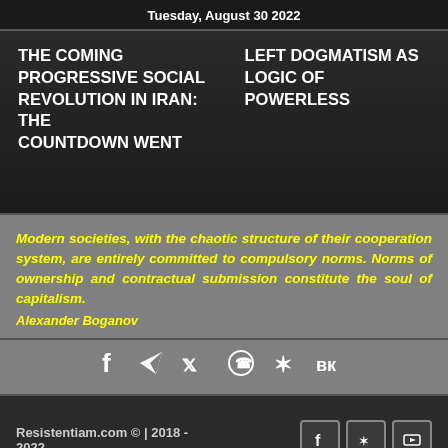Tuesday, August 30 2022
THE COMING PROGRESSIVE SOCIAL REVOLUTION IN IRAN: THE COUNTDOWN WENT
LEFT DOGMATISM AS LOGIC OF POWERLESS
Modern societies, with the chaotic structure of their cooperation system, are entirely committed to compulsory norms. Norms of ownership and contractual submission constitute the soul of capitalism.
Alexander Boganov
[Figure (infographic): Social media share icons: Facebook, Telegram, Twitter, WhatsApp, Odnoklassniki, VKontakte]
Resistentiam.com © | 2018 - 2022
psy0y03